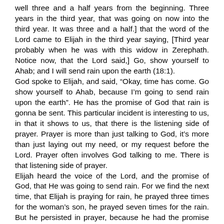well three and a half years from the beginning. Three years in the third year, that was going on now into the third year. It was three and a half.] that the word of the Lord came to Elijah in the third year saying, [Third year probably when he was with this widow in Zerephath. Notice now, that the Lord said,] Go, show yourself to Ahab; and I will send rain upon the earth (18:1).
God spoke to Elijah, and said, “Okay, time has come. Go show yourself to Ahab, because I’m going to send rain upon the earth”. He has the promise of God that rain is gonna be sent. This particular incident is interesting to us, in that it shows to us, that there is the listening side of prayer. Prayer is more than just talking to God, it’s more than just laying out my need, or my request before the Lord. Prayer often involves God talking to me. There is that listening side of prayer.
Elijah heard the voice of the Lord, and the promise of God, that He was going to send rain. For we find the next time, that Elijah is praying for rain, he prayed three times for the woman’s son, he prayed seven times for the rain. But he persisted in prayer, because he had the promise of God, that God would send the rain. Thus that persistence in the prayer,